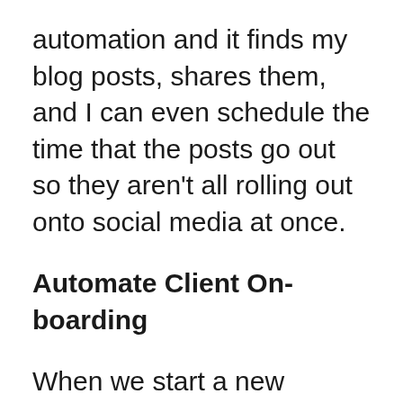automation and it finds my blog posts, shares them, and I can even schedule the time that the posts go out so they aren't all rolling out onto social media at once.
Automate Client On-boarding
When we start a new project, there are a number of tasks that we need to complete. We create a new DropBox for each client (for sharing their content with us), we add them to our All Clients email list (